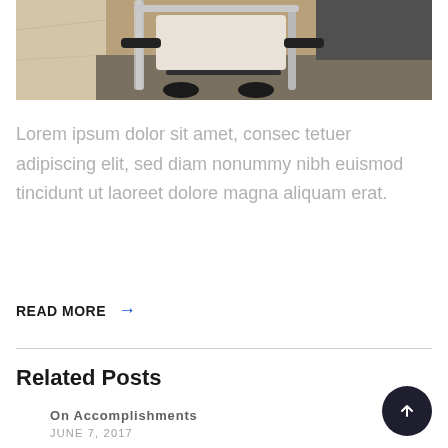[Figure (photo): Partial view of a modern office chair with chrome frame and white/cream fabric seat, on a textured carpet, near a marble surface]
Lorem ipsum dolor sit amet, consec tetuer adipiscing elit, sed diam nonummy nibh euismod tincidunt ut laoreet dolore magna aliquam erat.
READ MORE →
Related Posts
On Accomplishments
JUNE 7, 2017